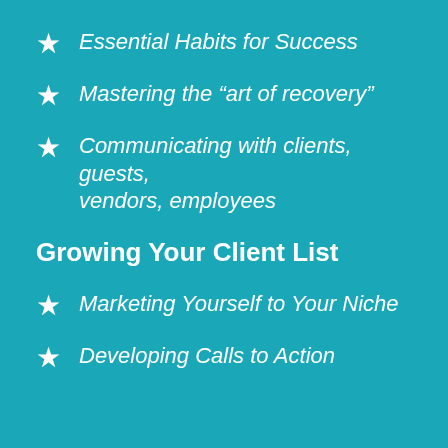Essential Habits for Success
Mastering the “art of recovery”
Communicating with clients, guests, vendors, employees
Growing Your Client List
Marketing Yourself to Your Niche
Developing Calls to Action